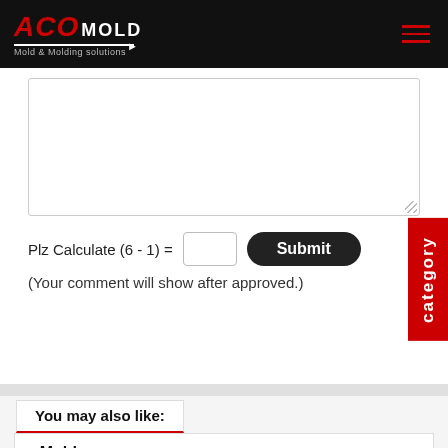[Figure (logo): ACO MOLD logo with red ACO text, white MOLD text, and tagline 'Mold & Molding solutions' on black background header]
[Figure (screenshot): Comment form textarea (empty), a math captcha 'Plz Calculate (6 - 1) =' with input box, a dark Submit button, and note '(Your comment will show after approved.)']
(Your comment will show after approved.)
You may also like:
Molds
We are capable of a wide variety of mold structure, familiar with standards of HASCO and DME, our moulds have a wide range of product application. Auto spare parts, lighter, electronic product case, ...